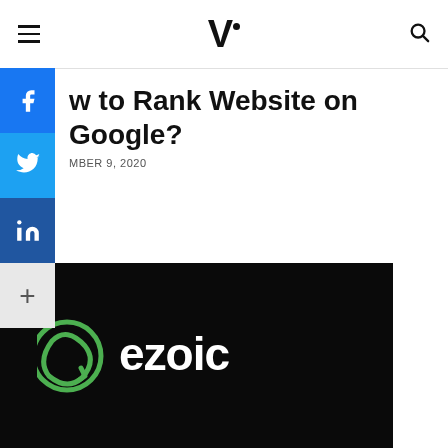V· [navigation header with hamburger menu, V logo, search icon]
[Figure (other): Social share sidebar with Facebook (blue), Twitter (light blue), LinkedIn (dark blue), and plus (+) buttons]
How to Rank Website on Google?
MBER 9, 2020
[Figure (logo): Ezoic logo on black background — green circular arrow icon with 'ezoic' in white bold text]